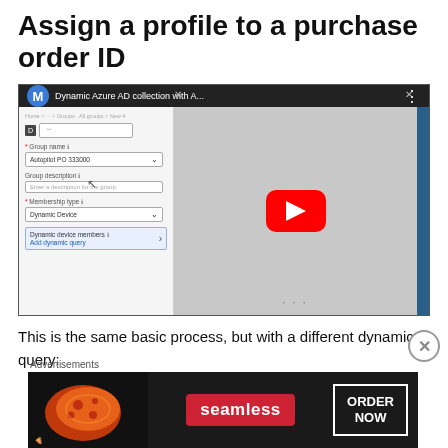Assign a profile to a purchase order ID
[Figure (screenshot): YouTube video thumbnail showing a Dynamic Azure AD collection setup interface. Left panel shows a form with Group name 'Autopilot PO 333000', Group description field, Membership type 'Dynamic Device', and 'Add dynamic query' option. Right area shows a YouTube play button on a gray background. Top bar is dark with an 'M' avatar icon and title 'Dynamic Azure AD collection with A...']
This is the same basic process, but with a different dynamic query:
[Figure (screenshot): Advertisements banner showing 'seamless' food ordering service with pizza image on the left, red seamless badge in the center, and 'ORDER NOW' text in a white bordered box on the right.]